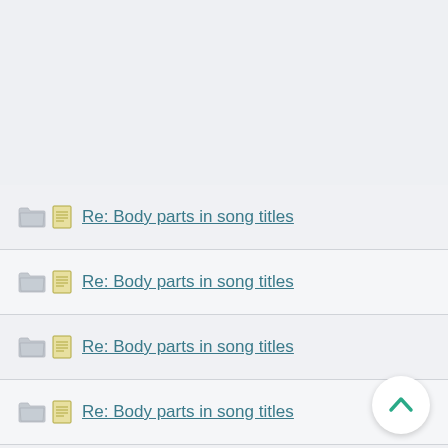Re: Body parts in song titles
Re: Body parts in song titles
Re: Body parts in song titles
Re: Body parts in song titles
Re: Body parts in song titles
Re: Body parts in song titles
Re: Body parts in song titles
Re: Body parts in song titles
Re: Body parts in song titles
Re: Body parts in song titles
Re: Body parts in song titles
Re: Body parts in song titles
Re: Body parts in song titles
Re: Body parts in song titles